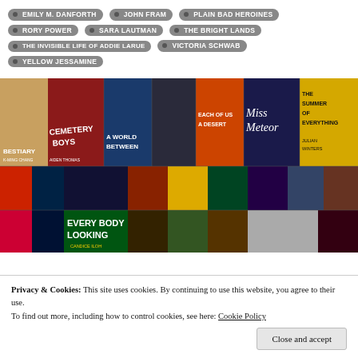EMILY M. DANFORTH
JOHN FRAM
PLAIN BAD HEROINES
RORY POWER
SARA LAUTMAN
THE BRIGHT LANDS
THE INVISIBLE LIFE OF ADDIE LARUE
VICTORIA SCHWAB
YELLOW JESSAMINE
[Figure (photo): A collage/grid of book covers including Bestiary by K-Ming Chang, Cemetery Boys by Aiden Thomas, A World Between, Each of Us a Desert, Miss Meteor, The Summer of Everything by Julian Winters, Every Body Looking by Candice Iloh, and many others — a colorful mosaic of YA and literary fiction covers.]
Privacy & Cookies: This site uses cookies. By continuing to use this website, you agree to their use.
To find out more, including how to control cookies, see here: Cookie Policy
Close and accept